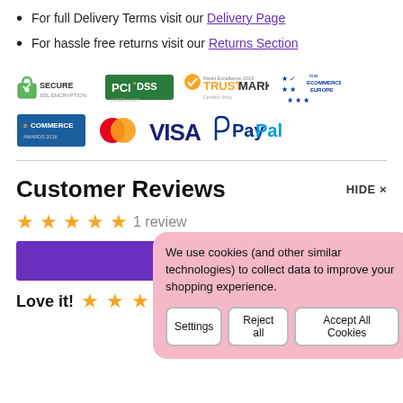For full Delivery Terms visit our Delivery Page
For hassle free returns visit our Returns Section
[Figure (infographic): Trust badges row 1: Secure SSL Encryption, PCI DSS Compliant, Retail Excellence TrustMark Certified Shop, Trust Ecommerce Europe stars badge]
[Figure (infographic): Payment badges row 2: eCommerce Awards, Mastercard, VISA, PayPal]
Customer Reviews
1 review
We use cookies (and other similar technologies) to collect data to improve your shopping experience.
Settings | Reject all | Accept All Cookies
Love it!